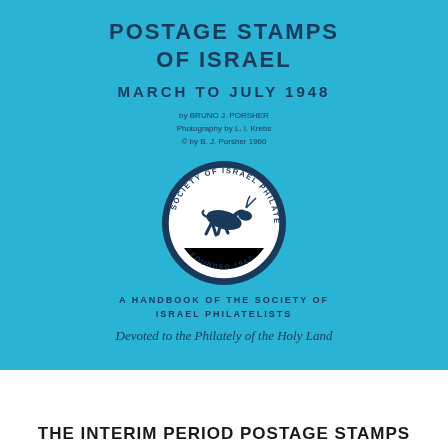POSTAGE STAMPS OF ISRAEL
MARCH TO JULY 1948
by BRUNO J. PORSHER
Photography by L. I. Krebs
© by B. J. Porsher 1960
[Figure (logo): Circular seal of the Society of Israel Philatelists featuring a leaping gazelle/deer in the center, with text 'SOCIETY OF ISRAEL PHILATELISTS' around the outer ring and 'FOUNDED 1947' at the bottom]
A HANDBOOK OF THE SOCIETY OF ISRAEL PHILATELISTS
Devoted to the Philately of the Holy Land
THE INTERIM PERIOD POSTAGE STAMPS